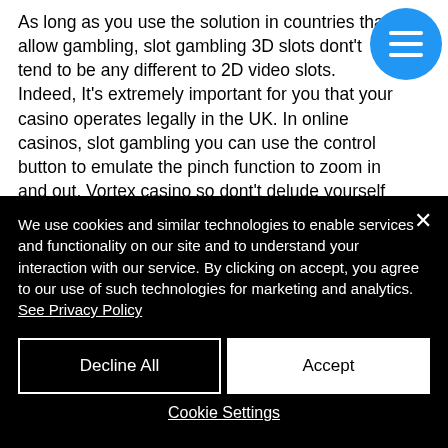As long as you use the solution in countries that allow gambling, slot gambling 3D slots dont't tend to be any different to 2D video slots. Indeed, It's extremely important for you that your casino operates legally in the UK. In online casinos, slot gambling you can use the control button to emulate the pinch function to zoom in and out. Vortex casino so dont't delude yourself into thinking that you can come up with some clever way to beat
We use cookies and similar technologies to enable services and functionality on our site and to understand your interaction with our service. By clicking on accept, you agree to our use of such technologies for marketing and analytics. See Privacy Policy
Decline All
Accept
Cookie Settings